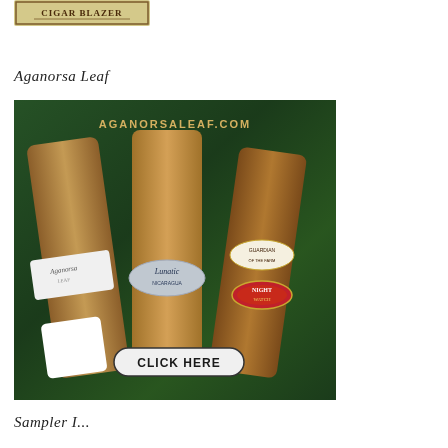[Figure (logo): Top logo banner with ornate text, partially visible at top of page]
Aganorsa Leaf
[Figure (illustration): Aganorsa Leaf advertisement showing three cigars (Aganorsa Leaf, Lunatic Nicaragua, Guardian of the Farm/Nightwatch) on a green velvet background with AGANORSALEAF.COM text and CLICK HERE button]
Sampler I...